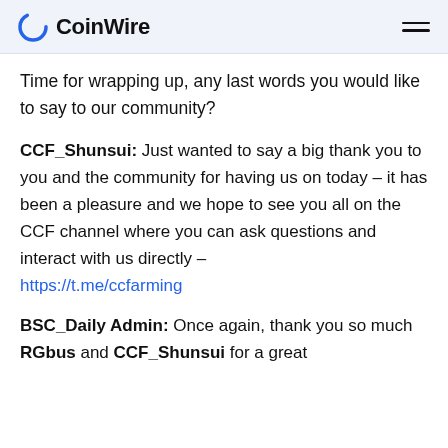CoinWire
Time for wrapping up, any last words you would like to say to our community?
CCF_Shunsui: Just wanted to say a big thank you to you and the community for having us on today – it has been a pleasure and we hope to see you all on the CCF channel where you can ask questions and interact with us directly – https://t.me/ccfarming
BSC_Daily Admin: Once again, thank you so much RGbus and CCF_Shunsui for a great